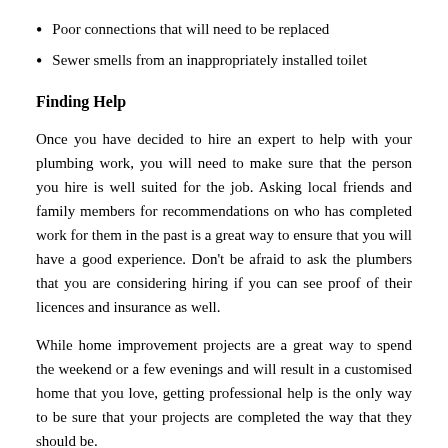Poor connections that will need to be replaced
Sewer smells from an inappropriately installed toilet
Finding Help
Once you have decided to hire an expert to help with your plumbing work, you will need to make sure that the person you hire is well suited for the job. Asking local friends and family members for recommendations on who has completed work for them in the past is a great way to ensure that you will have a good experience. Don't be afraid to ask the plumbers that you are considering hiring if you can see proof of their licences and insurance as well.
While home improvement projects are a great way to spend the weekend or a few evenings and will result in a customised home that you love, getting professional help is the only way to be sure that your projects are completed the way that they should be.